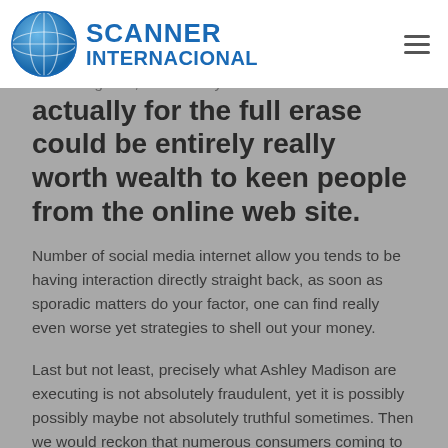SCANNER INTERNACIONAL
That being said, that which you have actually for the full erase could be entirely really worth wealth to keen people from the online web site.
Number of social media internet allow you tends to be having interaction directly straight back, as soon as sporadic matters do your factor, one can find really even worse yet strategies to shell out your money.
Last but not least, precisely what Ashley Madison are executing is not absolutely fraudulent, yet it is possibly possibly maybe not absolutely truthful sometimes. Then we would reckon that numerous consumers coming to web site for extramarital affair are earning benefits by doing so